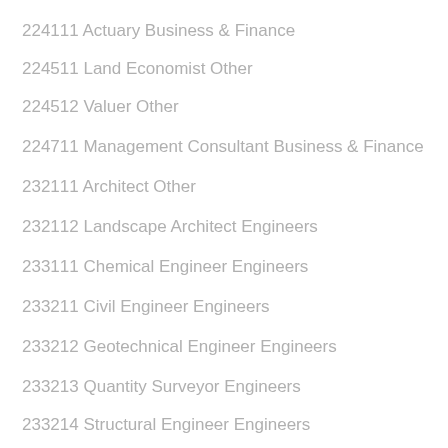224111 Actuary Business & Finance
224511 Land Economist Other
224512 Valuer Other
224711 Management Consultant Business & Finance
232111 Architect Other
232112 Landscape Architect Engineers
233111 Chemical Engineer Engineers
233211 Civil Engineer Engineers
233212 Geotechnical Engineer Engineers
233213 Quantity Surveyor Engineers
233214 Structural Engineer Engineers